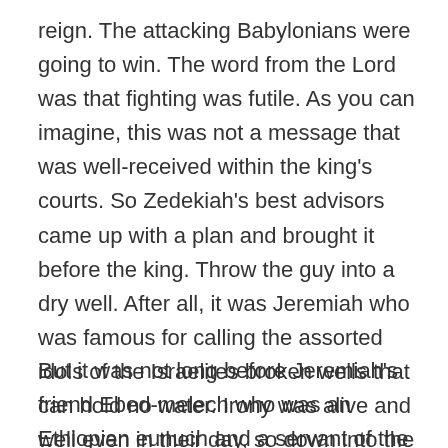reign. The attacking Babylonians were going to win. The word from the Lord was that fighting was futile. As you can imagine, this was not a message that was well-received within the king's courts. So Zedekiah's best advisors came up with a plan and brought it before the king. Throw the guy into a dry well. After all, it was Jeremiah who was famous for calling the assorted idols of the Israelites broken wells that can hold no water. Irony was alive and well even in their day, so down into the well went Jeremiah.
But it was not long before Jeremiah's friend Ebed-melech who was an Ethiopian eunuch and a servant of the king, heard about his misfortune